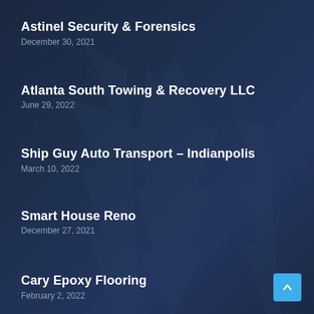Astinel Security & Forensics
December 30, 2021
Atlanta South Towing & Recovery LLC
June 29, 2022
Ship Guy Auto Transport – Indianpolis
March 10, 2022
Smart House Reno
December 27, 2021
Cary Epoxy Flooring
February 2, 2022